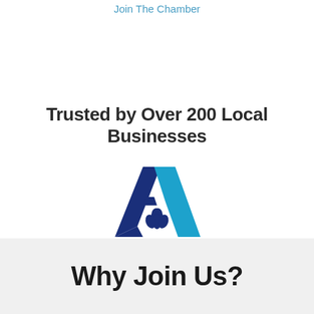Join The Chamber
Trusted by Over 200 Local Businesses
[Figure (logo): Albertsons logo: dark blue and cyan triangular 'A' shape with a dark blue plant/leaf motif inside, with the word 'Albertsons' in cyan below with a registered trademark symbol]
Why Join Us?